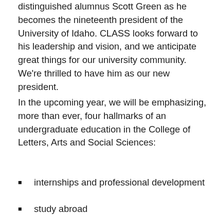distinguished alumnus Scott Green as he becomes the nineteenth president of the University of Idaho. CLASS looks forward to his leadership and vision, and we anticipate great things for our university community. We're thrilled to have him as our new president.
In the upcoming year, we will be emphasizing, more than ever, four hallmarks of an undergraduate education in the College of Letters, Arts and Social Sciences:
internships and professional development
study abroad
undergraduate research and creative activity
service learning